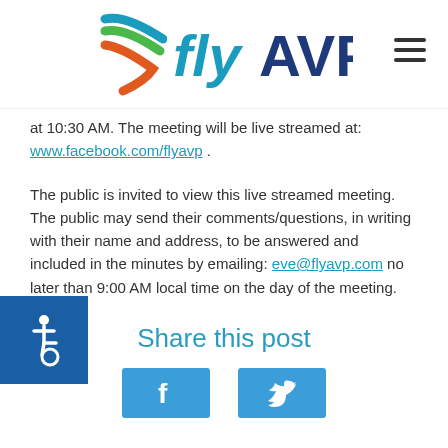[Figure (logo): flyAVP logo with multicolor swoosh icon and text 'flyAVP' in blue]
at 10:30 AM. The meeting will be live streamed at: www.facebook.com/flyavp .
The public is invited to view this live streamed meeting. The public may send their comments/questions, in writing with their name and address, to be answered and included in the minutes by emailing: eve@flyavp.com no later than 9:00 AM local time on the day of the meeting.
Share this post